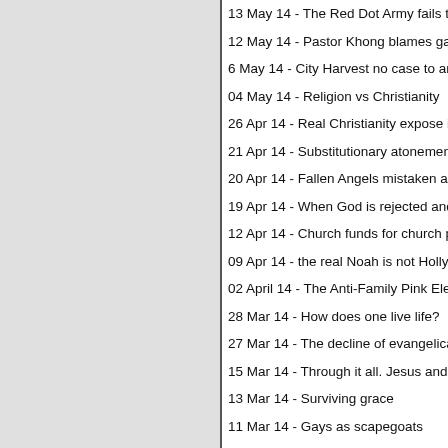13 May 14 - The Red Dot Army fails to land at
12 May 14 - Pastor Khong blames gays for co
6 May 14 - City Harvest no case to answer reje
04 May 14 - Religion vs Christianity
26 Apr 14 - Real Christianity expose in Singap
21 Apr 14 - Substitutionary atonement of Jesus
20 Apr 14 - Fallen Angels mistaken as Gays
19 Apr 14 - When God is rejected and evil exa
12 Apr 14 - Church funds for church purposes
09 Apr 14 - the real Noah is not Hollywood
02 April 14 - The Anti-Family Pink Elephant
28 Mar 14 - How does one live life?
27 Mar 14 - The decline of evangelical America
15 Mar 14 - Through it all. Jesus and the Eunu
13 Mar 14 - Surviving grace
11 Mar 14 - Gays as scapegoats
28 Feb 2014 - Gays destroying the church?
24 Feb 14 - Pastor Yonggi Cho